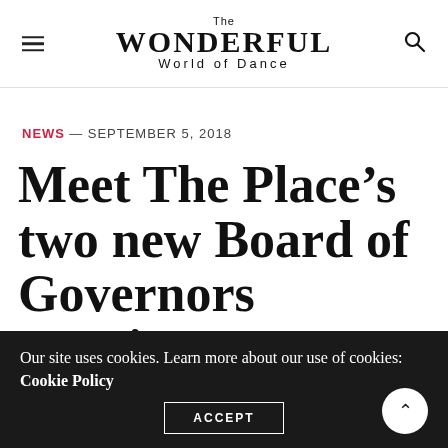The WONDERFUL World of Dance
NEWS — SEPTEMBER 5, 2018
Meet The Place's two new Board of Governors appointees
BY WONDERFUL NEWS
Our site uses cookies. Learn more about our use of cookies: Cookie Policy
ACCEPT